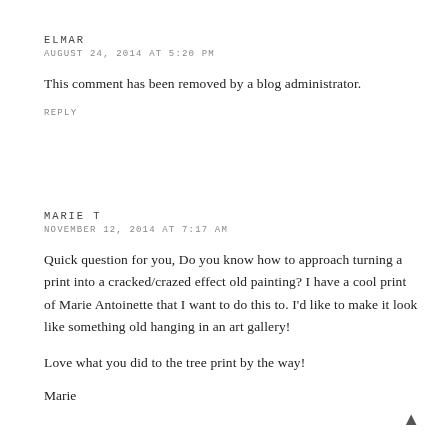ELMAR
AUGUST 24, 2014 AT 5:20 PM
This comment has been removed by a blog administrator.
REPLY
MARIE T
NOVEMBER 12, 2014 AT 7:17 AM
Quick question for you, Do you know how to approach turning a print into a cracked/crazed effect old painting? I have a cool print of Marie Antoinette that I want to do this to. I'd like to make it look like something old hanging in an art gallery!
Love what you did to the tree print by the way!
Marie